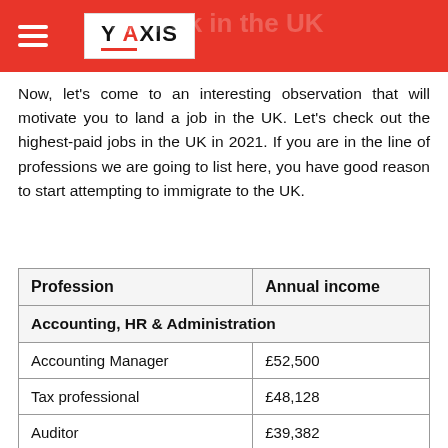Y AXIS
Now, let's come to an interesting observation that will motivate you to land a job in the UK. Let's check out the highest-paid jobs in the UK in 2021. If you are in the line of professions we are going to list here, you have good reason to start attempting to immigrate to the UK.
| Profession | Annual income |
| --- | --- |
| Accounting, HR & Administration |  |
| Accounting Manager | £52,500 |
| Tax professional | £48,128 |
| Auditor | £39,382 |
| Project Manager | £49,200 |
| Health/Safety | £39,992 |